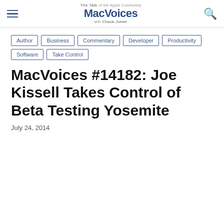The Talk of the Apple Community MacVoices with Chuck Joiner
Author
Business
Commentary
Developer
Productivity
Software
Take Control
MacVoices #14182: Joe Kissell Takes Control of Beta Testing Yosemite
July 24, 2014